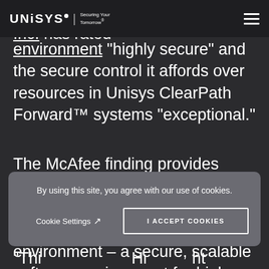UNISYS | Securing Your Tomorrow®
cybersecurity company McAfee, Inc. has rated environment "highly secure" and the secure control it affords over resources in Unisys ClearPath Forward™ systems "exceptional."
The McAfee finding provides further expert validation of the unmatched security of the ClearPath OS 2200 operating environment – a secure, scalable software environment for high-
By using this site, you agree with our use of cookies.
Cookie Settings ↗   I ACCEPT COOKIES
"This a lid hi d Hi hid ht